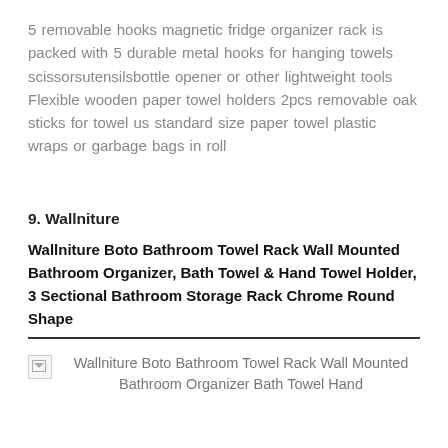5 removable hooks magnetic fridge organizer rack is packed with 5 durable metal hooks for hanging towels scissorsutensilsbottle opener or other lightweight tools Flexible wooden paper towel holders 2pcs removable oak sticks for towel us standard size paper towel plastic wraps or garbage bags in roll
9. Wallniture
Wallniture Boto Bathroom Towel Rack Wall Mounted Bathroom Organizer, Bath Towel & Hand Towel Holder, 3 Sectional Bathroom Storage Rack Chrome Round Shape
[Figure (photo): Broken image placeholder for Wallniture Boto Bathroom Towel Rack Wall Mounted Bathroom Organizer Bath Towel Hand]